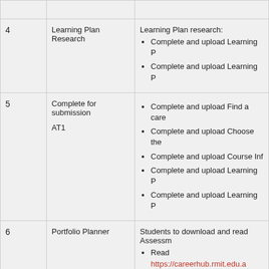| # | Topic | Activities |
| --- | --- | --- |
|  |  |  |
| 4 | Learning Plan Research | Learning Plan research:
• Complete and upload Learning P...
• Complete and upload Learning P... |
| 5 | Complete for submission
AT1 | • Complete and upload Find a care...
• Complete and upload Choose the...
• Complete and upload Course Inf...
• Complete and upload Learning P...
• Complete and upload Learning P... |
| 6 | Portfolio Planner | Students to download and read Assessm...
• Read https://careerhub.rmit.edu.a... EAL-(FurtherStudy).pdf (Links to...
• Group work and share informatio...
• Group/class discussion on caree... |